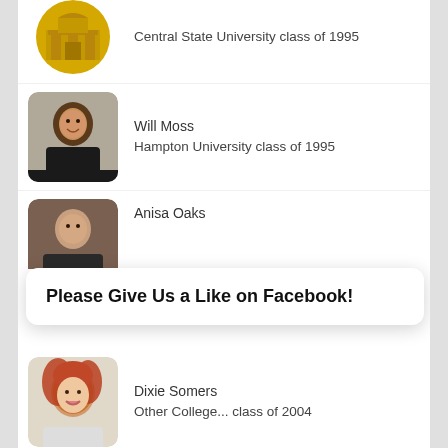Central State University class of 1995
Will Moss
Hampton University class of 1995
Anisa Oaks
Please Give Us a Like on Facebook!
Dixie Somers
Other College... class of 2004
LaMarr Blackmon
Cal St Univ, Long Beach class of 1992